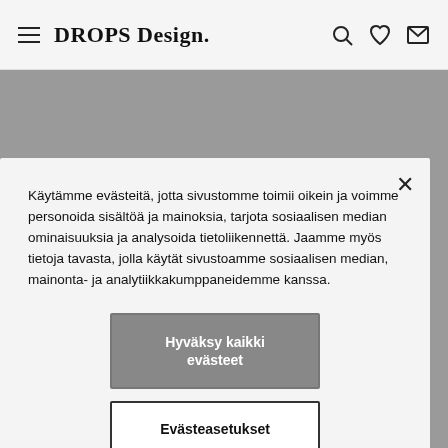DROPS Design.
Käytämme evästeitä, jotta sivustomme toimii oikein ja voimme personoida sisältöä ja mainoksia, tarjota sosiaalisen median ominaisuuksia ja analysoida tietoliikennettä. Jaamme myös tietoja tavasta, jolla käytät sivustoamme sosiaalisen median, mainonta- ja analytiikkakumppaneidemme kanssa.
Hyväksy kaikki evästeet
Evästeasetukset